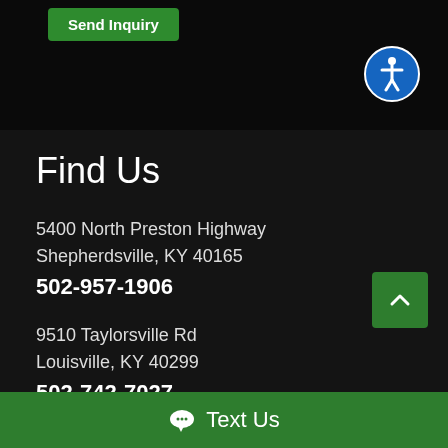[Figure (screenshot): Top strip with 'Send Inquiry' green button and accessibility icon (blue circle with person figure)]
Find Us
5400 North Preston Highway
Shepherdsville, KY 40165
502-957-1906
9510 Taylorsville Rd
Louisville, KY 40299
502-742-7027
5705 Bardstown Rd
Louisville, KY 40291
502-919-7043
Text Us